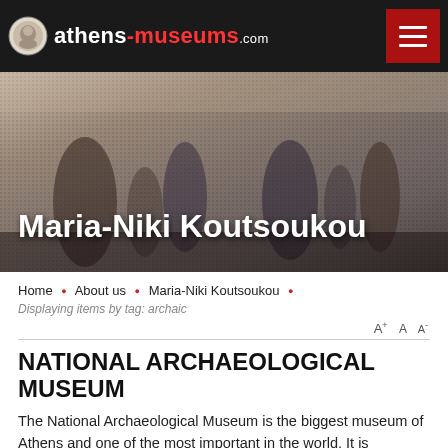athens-museums.com
[Figure (photo): Blurred hero image of museum interior with figure silhouettes]
Maria-Niki Koutsoukou
Home • About us • Maria-Niki Koutsoukou •
Displaying items by tag: archaic
A+ A A-
NATIONAL ARCHAEOLOGICAL MUSEUM
The National Archaeological Museum is the biggest museum of Athens and one of the most important in the world. It is